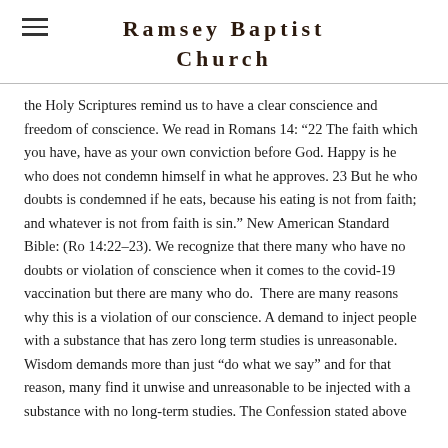Ramsey Baptist Church
the Holy Scriptures remind us to have a clear conscience and freedom of conscience. We read in Romans 14: “22 The faith which you have, have as your own conviction before God. Happy is he who does not condemn himself in what he approves. 23 But he who doubts is condemned if he eats, because his eating is not from faith; and whatever is not from faith is sin.” New American Standard Bible: (Ro 14:22–23). We recognize that there many who have no doubts or violation of conscience when it comes to the covid-19 vaccination but there are many who do.  There are many reasons why this is a violation of our conscience. A demand to inject people with a substance that has zero long term studies is unreasonable. Wisdom demands more than just “do what we say” and for that reason, many find it unwise and unreasonable to be injected with a substance with no long-term studies. The Confession stated above